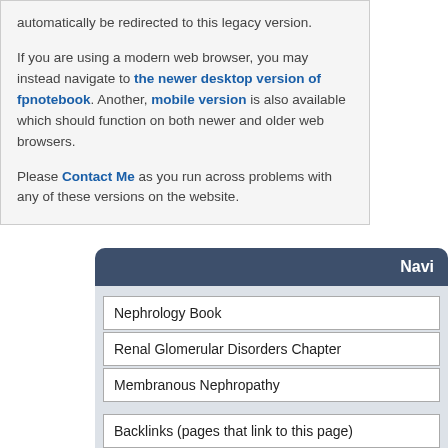automatically be redirected to this legacy version.

If you are using a modern web browser, you may instead navigate to the newer desktop version of fpnotebook. Another, mobile version is also available which should function on both newer and older web browsers.

Please Contact Me as you run across problems with any of these versions on the website.
Navi
Nephrology Book
Renal Glomerular Disorders Chapter
Membranous Nephropathy
Backlinks (pages that link to this page)
Search other sites for Membranous Neph